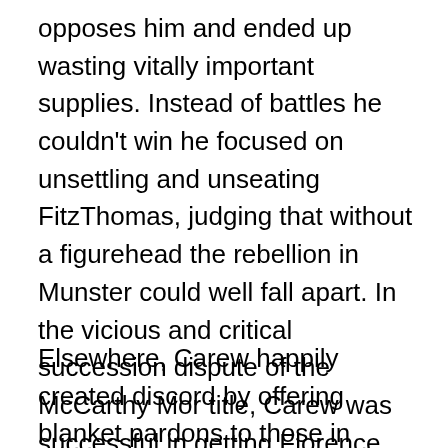opposes him and ended up wasting vitally important supplies. Instead of battles he couldn't win he focused on unsettling and unseating FitzThomas, judging that without a figurehead the rebellion in Munster could well fall apart. In the vicious and critical succession dispute of the McCarthy Mor title, Carew was successful in getting Florence McCarthy, a powerful figure of the time and place, to adopt a policy of neutrality in the Desmond/English conflict, and later got another claimant, Donal McCarthy, to side with the crown. Florence's lack of commitment would later see him live out the rest of his life in an English prison cell.
Elsewhere, Carew happily created discord by offering blanket pardons to those in rebellion, extensive bribes to those who could be bought, and potent threats to those who liked to derive influence and things from the...